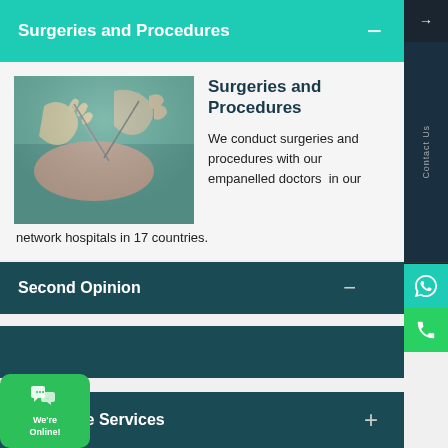Surgeries and Procedures
[Figure (photo): Close-up of surgeon's gloved hands performing a surgical procedure with medical instruments on a patient covered with surgical draping.]
Surgeries and Procedures
We conduct surgeries and procedures with our empanelled doctors in our network hospitals in 17 countries.
Second Opinion
Camps
Corporate Services